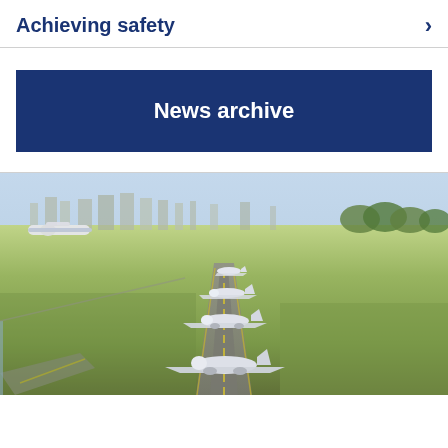Achieving safety
News archive
[Figure (photo): Aerial view of airport runway with multiple aircraft queued on taxiway, green grass fields, city skyline in background under blue sky]